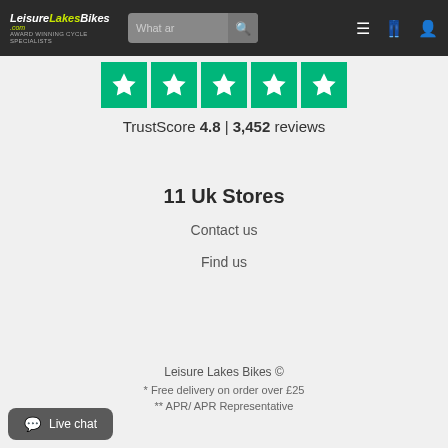Leisure Lakes Bikes - Navigation bar with logo, search, menu, bag, account icons
[Figure (other): Trustpilot rating: 5 green star boxes with white stars]
TrustScore 4.8 | 3,452 reviews
11 Uk Stores
Contact us
Find us
Leisure Lakes Bikes ©
* Free delivery on order over £25
** APR/ APR Representative
Live chat